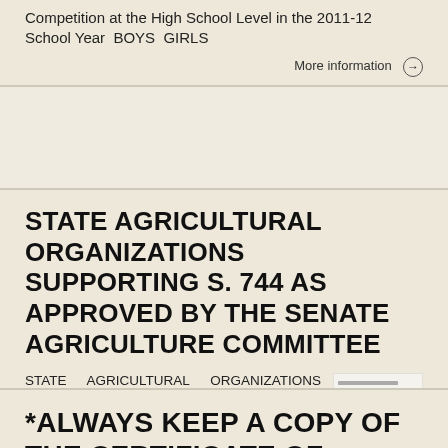Competition at the High School Level in the 2011-12 School Year BOYS GIRLS
More information →
STATE AGRICULTURAL ORGANIZATIONS SUPPORTING S. 744 AS APPROVED BY THE SENATE AGRICULTURE COMMITTEE
STATE AGRICULTURAL ORGANIZATIONS SUPPORTING S. 744 AS APPROVED BY THE SENATE AGRICULTURE COMMITTEE ALABAMA ALASKA ARIZONA Alabama Department of Agriculture & Industries* Alabama Poultry & Egg Association
[Figure (other): Thumbnail image of a document page with text columns]
More information →
*ALWAYS KEEP A COPY OF THE CERTIFICATE OF ATTENDANCE FOR YOUR RECORDS IN CASE OF AUDIT